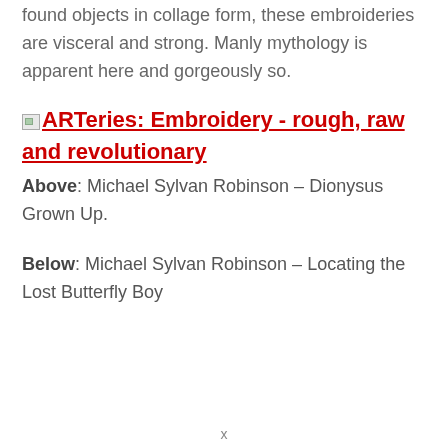found objects in collage form, these embroideries are visceral and strong. Manly mythology is apparent here and gorgeously so.
[Figure (other): Broken image placeholder with link: ARTeries: Embroidery - rough, raw and revolutionary]
Above: Michael Sylvan Robinson – Dionysus Grown Up.
Below: Michael Sylvan Robinson – Locating the Lost Butterfly Boy
x